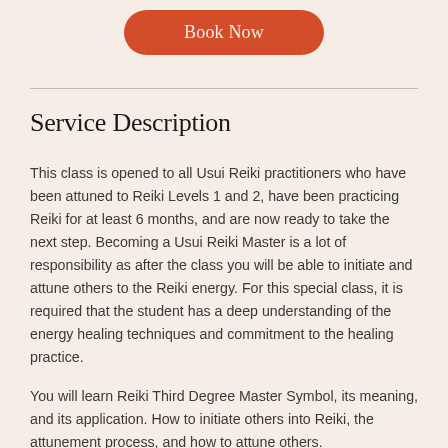[Figure (other): Orange rounded rectangle button with text 'Book Now' in light cream color]
Service Description
This class is opened to all Usui Reiki practitioners who have been attuned to Reiki Levels 1 and 2, have been practicing Reiki for at least 6 months, and are now ready to take the next step. Becoming a Usui Reiki Master is a lot of responsibility as after the class you will be able to initiate and attune others to the Reiki energy. For this special class, it is required that the student has a deep understanding of the energy healing techniques and commitment to the healing practice.
You will learn Reiki Third Degree Master Symbol, its meaning, and its application. How to initiate others into Reiki, the attunement process, and how to attune others.